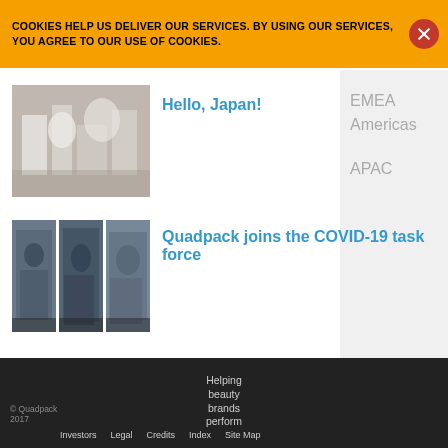COOKIES HELP US DELIVER OUR SERVICES. BY USING OUR SERVICES, YOU AGREE TO OUR USE OF COOKIES.
EMEA
Americas
APAC
[Figure (photo): Thumbnail photo showing industrial/packaging facility in black and white, workers in white coats]
Hello, Japan!
[Figure (photo): Three thumbnail photos side by side showing workers in a manufacturing or packaging facility]
Quadpack joins the COVID-19 task force
© Quadpack 2017  Helping beauty brands perform  Investors  Legal  Credits  Index  Site Map